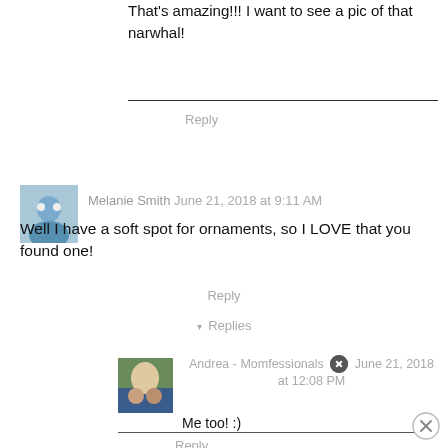That's amazing!!! I want to see a pic of that narwhal!
Reply
Melanie Smith  June 21, 2018 at 9:11 AM
[Figure (photo): Small avatar photo of Melanie Smith]
Well I have a soft spot for ornaments, so I LOVE that you found one!
Reply
▼ Replies
[Figure (photo): Small avatar photo of Andrea - Momfessionals]
Andrea - Momfessionals  June 21, 2018 at 12:08 PM
Me too! :)
Reply